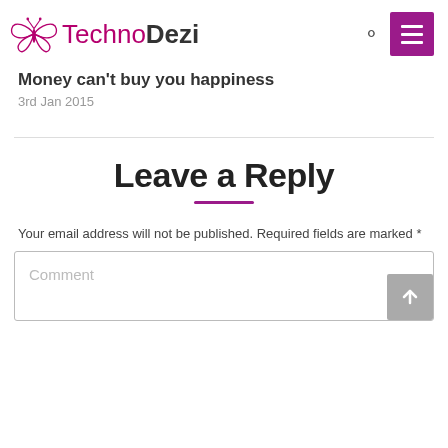TechnoDezi
Money can't buy you happiness
3rd Jan 2015
Leave a Reply
Your email address will not be published. Required fields are marked *
Comment